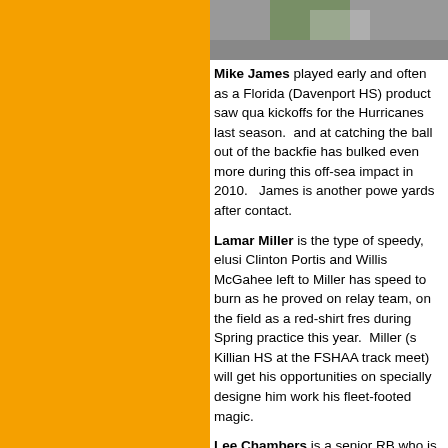[Figure (photo): Partial photo of a person, cropped at top of page on the right column]
Mike James played early and often as a Florida (Davenport HS) product saw qualifications kickoffs for the Hurricanes last season. and at catching the ball out of the backfield has bulked even more during this off-season impact in 2010. James is another power yards after contact.
Lamar Miller is the type of speedy, elusive Clinton Portis and Willis McGahee left to Miller has speed to burn as he proved on relay team, on the field as a red-shirt freshman during Spring practice this year. Miller (s Killian HS at the FSHAA track meet) will get his opportunities on specially designed him work his fleet-footed magic.
Lee Chambers is a senior RB who is expected season if Cooper is not 100% ready after the injury he suffered in the Champs Bowl dues and has shown some flashes of talent